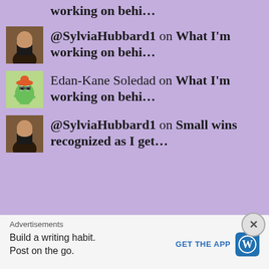working on behi…
@SylviaHubbard1 on What I'm working on behi…
Edan-Kane Soledad on What I'm working on behi…
@SylviaHubbard1 on Small wins recognized as I get…
Advertisements
Build a writing habit. Post on the go.
GET THE APP